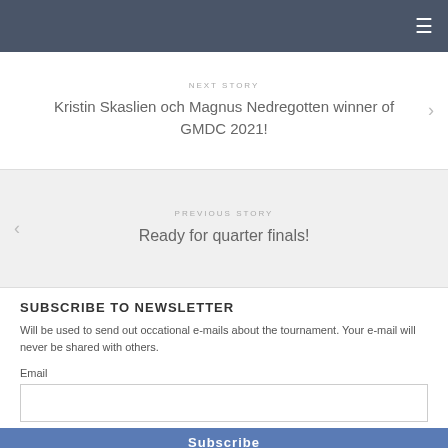☰
NEXT STORY
Kristin Skaslien och Magnus Nedregotten winner of GMDC 2021!
PREVIOUS STORY
Ready for quarter finals!
SUBSCRIBE TO NEWSLETTER
Will be used to send out occational e-mails about the tournament. Your e-mail will never be shared with others.
Email
Subscribe